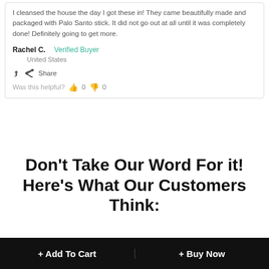I cleansed the house the day I got these in! They came beautifully made and packaged with Palo Santo stick. It did not go out at all until it was completely done! Definitely going to get more.
Rachel C.   Verified Buyer
United States
Share
Was this helpful?  0  0
Don't Take Our Word For it! Here's What Our Customers Think:
+ Add To Cart
+ Buy Now